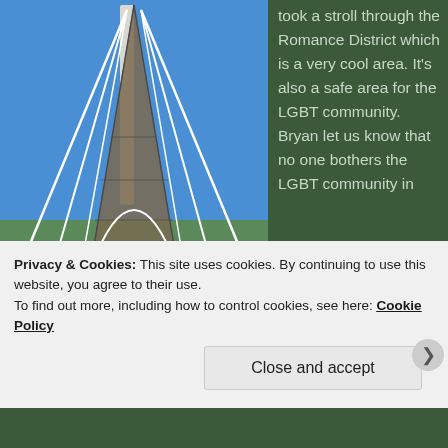[Figure (photo): A tall modern architectural structure or tower with white cable stays and a glass facade, photographed from below against a clear blue sky. Railing/walkway visible at base.]
took a stroll through the Romance District which is a very cool area. It's also a safe area for the LGBT community. Bryan let us know that no one bothers the LGBT community in
Privacy & Cookies: This site uses cookies. By continuing to use this website, you agree to their use.
To find out more, including how to control cookies, see here: Cookie Policy
Close and accept